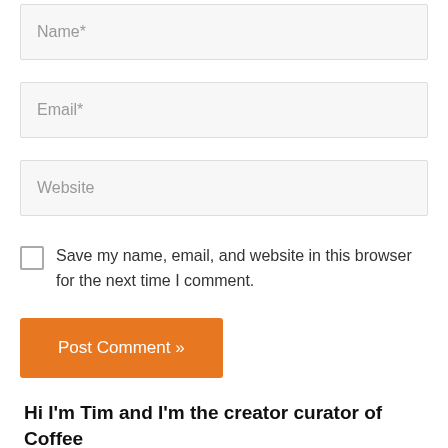Name*
Email*
Website
Save my name, email, and website in this browser for the next time I comment.
Post Comment »
Hi I'm Tim and I'm the creator curator of Coffee